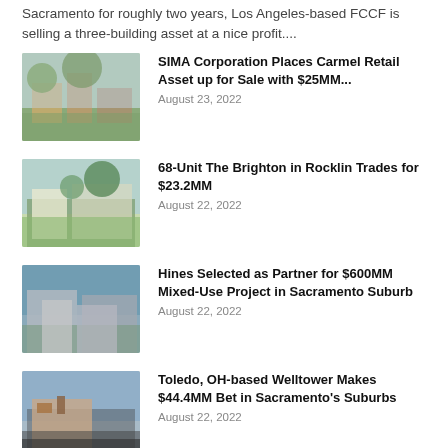Sacramento for roughly two years, Los Angeles-based FCCF is selling a three-building asset at a nice profit....
SIMA Corporation Places Carmel Retail Asset up for Sale with $25MM... August 23, 2022
68-Unit The Brighton in Rocklin Trades for $23.2MM August 22, 2022
Hines Selected as Partner for $600MM Mixed-Use Project in Sacramento Suburb August 22, 2022
Toledo, OH-based Welltower Makes $44.4MM Bet in Sacramento's Suburbs August 22, 2022